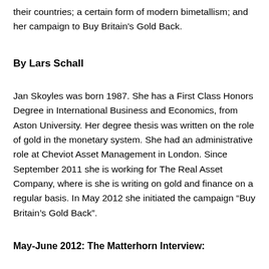their countries; a certain form of modern bimetallism; and her campaign to Buy Britain's Gold Back.
By Lars Schall
Jan Skoyles was born 1987. She has a First Class Honors Degree in International Business and Economics, from Aston University. Her degree thesis was written on the role of gold in the monetary system. She had an administrative role at Cheviot Asset Management in London. Since September 2011 she is working for The Real Asset Company, where is she is writing on gold and finance on a regular basis. In May 2012 she initiated the campaign “Buy Britain’s Gold Back”.
May-June 2012: The Matterhorn Interview: